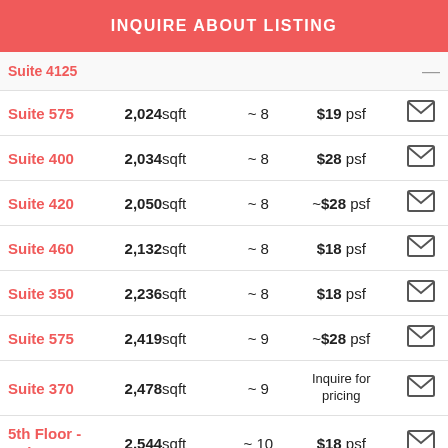INQUIRE ABOUT LISTING
| Suite | Size | ~Offices | Price | Contact |
| --- | --- | --- | --- | --- |
| Suite 4125 |  |  |  | — |
| Suite 575 | 2,024 sqft | ~ 8 | $19 psf | ✉ |
| Suite 400 | 2,034 sqft | ~ 8 | $28 psf | ✉ |
| Suite 420 | 2,050 sqft | ~ 8 | ~$28 psf | ✉ |
| Suite 460 | 2,132 sqft | ~ 8 | $18 psf | ✉ |
| Suite 350 | 2,236 sqft | ~ 8 | $18 psf | ✉ |
| Suite 575 | 2,419 sqft | ~ 9 | ~$28 psf | ✉ |
| Suite 370 | 2,478 sqft | ~ 9 | Inquire for pricing | ✉ |
| 5th Floor - Suite 525 | 2,544 sqft | ~ 10 | $18 psf | ✉ |